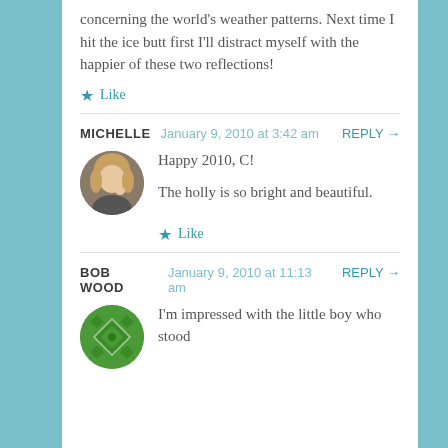concerning the world's weather patterns. Next time I hit the ice butt first I'll distract myself with the happier of these two reflections!
★ Like
MICHELLE  January 9, 2010 at 3:42 am  REPLY →
Happy 2010, C!

The holly is so bright and beautiful.
★ Like
BOB WOOD  January 9, 2010 at 11:13 am  REPLY →
I'm impressed with the little boy who stood